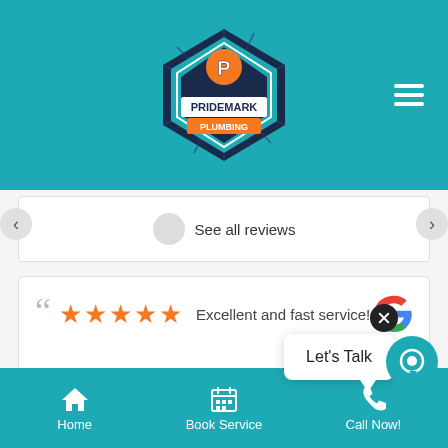[Figure (logo): Pridemark Plumbing logo — diamond/shield shape with teal and dark blue, orange 'P' at top, text PRIDEMARK in white on dark blue, PLUMBING in white on orange banner]
See all reviews
★★★★★ Excellent and fast service!
Let's Talk
Home
Book Service
Call Now!